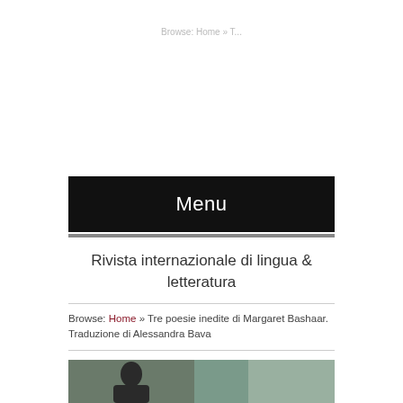Menu
Rivista internazionale di lingua & letteratura
Browse: Home » Tre poesie inedite di Margaret Bashaar. Traduzione di Alessandra Bava
[Figure (photo): Partial view of a person's face/head photograph at the bottom of the page]